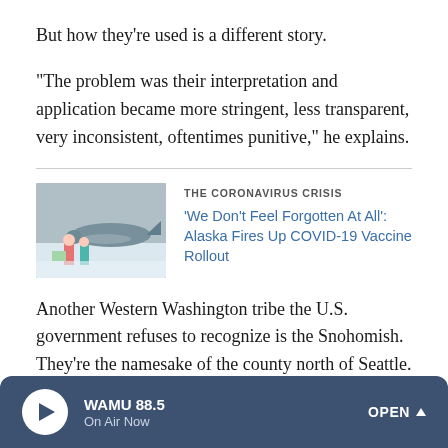But how they're used is a different story.
"The problem was their interpretation and application became more stringent, less transparent, very inconsistent, oftentimes punitive," he explains.
[Figure (photo): Photo of people loading supplies near a small plane in a snowy setting, related to Alaska COVID-19 vaccine rollout story]
THE CORONAVIRUS CRISIS
'We Don't Feel Forgotten At All': Alaska Fires Up COVID-19 Vaccine Rollout
Another Western Washington tribe the U.S. government refuses to recognize is the Snohomish. They're the namesake of the county north of Seattle.
WAMU 88.5 On Air Now OPEN ^